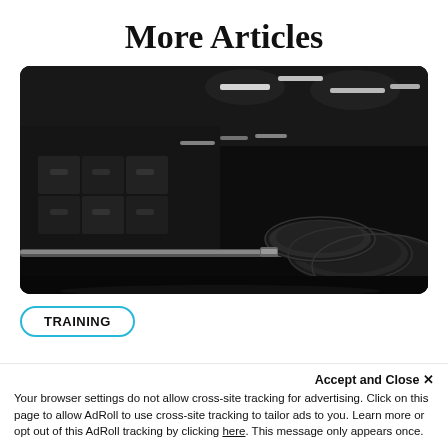More Articles
[Figure (photo): Dark dramatic gym photo showing a barbell with large weight plates on the floor, storage boxes/cubbies in the background, lit by ceiling strip lights in a dark gym environment.]
TRAINING
Accept and Close ×
Your browser settings do not allow cross-site tracking for advertising. Click on this page to allow AdRoll to use cross-site tracking to tailor ads to you. Learn more or opt out of this AdRoll tracking by clicking here. This message only appears once.